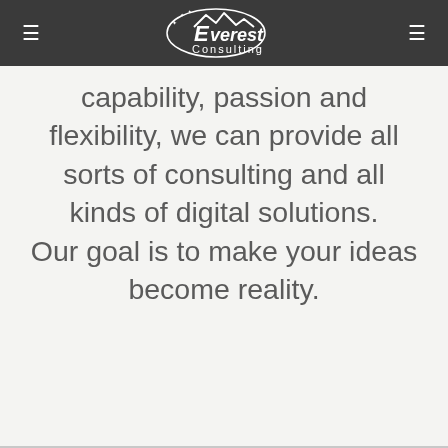Everest Consulting
capability, passion and flexibility, we can provide all sorts of consulting and all kinds of digital solutions. Our goal is to make your ideas become reality.